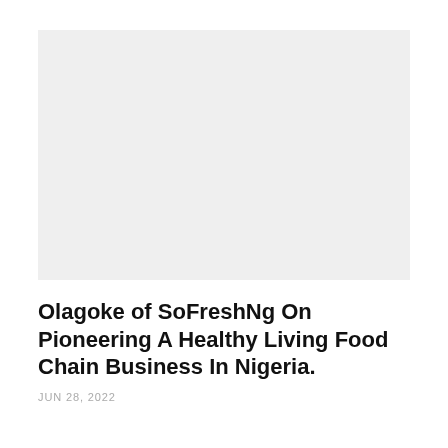[Figure (photo): Large rectangular placeholder image with light grey background, no visible content]
Olagoke of SoFreshNg On Pioneering A Healthy Living Food Chain Business In Nigeria.
JUN 28, 2022